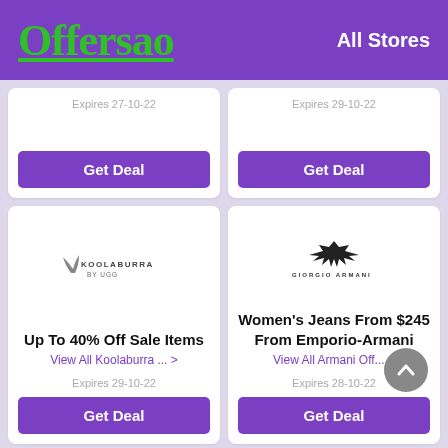Offersao   All Stores
Expires 27-10-22
Get Deal
Expires 29-10-22
Get Deal
[Figure (logo): Koolaburra by UGG logo]
Up To 40% Off Sale Items
View All Koolaburra ... >
Expires 29-10-22
Get Deal
[Figure (logo): Giorgio Armani eagle logo]
Women's Jeans From $245 From Emporio-Armani
View All Armani Off... >
Expires 28-10-22
Get Deal